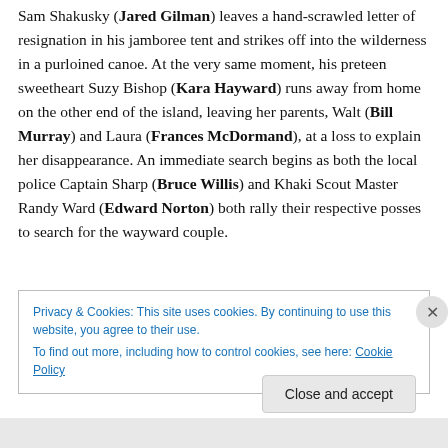Sam Shakusky (Jared Gilman) leaves a hand-scrawled letter of resignation in his jamboree tent and strikes off into the wilderness in a purloined canoe. At the very same moment, his preteen sweetheart Suzy Bishop (Kara Hayward) runs away from home on the other end of the island, leaving her parents, Walt (Bill Murray) and Laura (Frances McDormand), at a loss to explain her disappearance. An immediate search begins as both the local police Captain Sharp (Bruce Willis) and Khaki Scout Master Randy Ward (Edward Norton) both rally their respective posses to search for the wayward couple.
Privacy & Cookies: This site uses cookies. By continuing to use this website, you agree to their use.
To find out more, including how to control cookies, see here: Cookie Policy